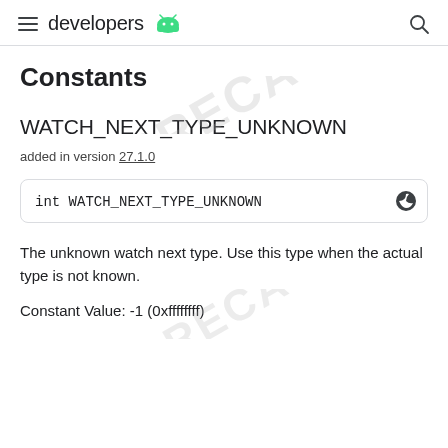developers
Constants
WATCH_NEXT_TYPE_UNKNOWN
added in version 27.1.0
int WATCH_NEXT_TYPE_UNKNOWN
The unknown watch next type. Use this type when the actual type is not known.
Constant Value: -1 (0xffffffff)